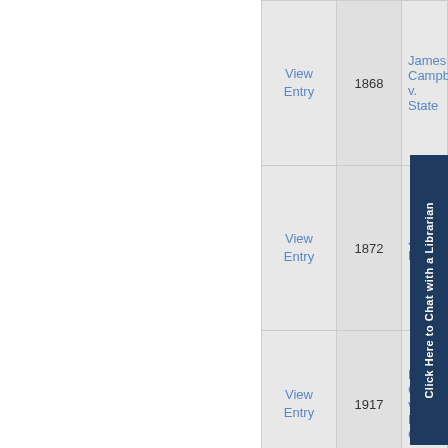|  | Year | Case Name |
| --- | --- | --- |
| View Entry | 1868 | James Campbell v. State |
| View Entry | 1872 | J. H. Ha[ll?] |
| View Entry | 1917 | Morgan County v. Martha Goans |